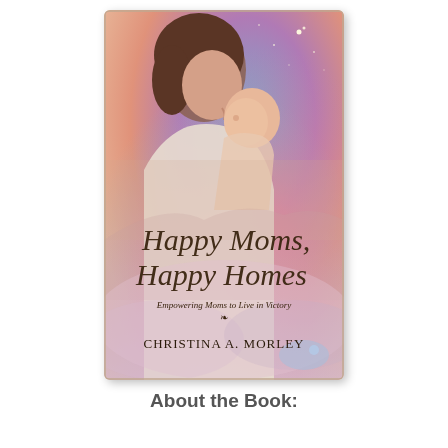[Figure (illustration): Book cover of 'Happy Moms, Happy Homes' by Christina A. Morley. The cover shows a mother tenderly touching noses with her newborn baby against a dreamy background of pink, purple and blue hues with stars. The title 'Happy Moms, Happy Homes' is in large cursive script, with the subtitle 'Empowering Moms to Live in Victory' and author name 'Christina A. Morley' in smaller text below.]
About the Book: